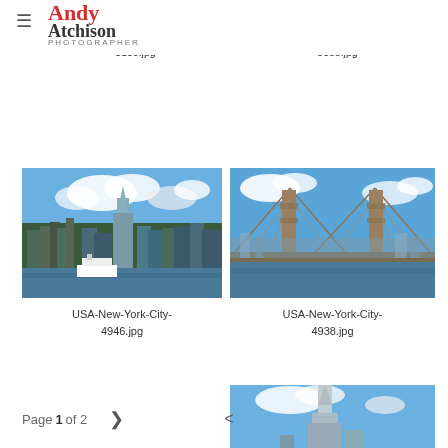Andy Atchison Photographer
[Figure (photo): Partially visible photo of New York City, top-left thumbnail]
[Figure (photo): Partially visible photo of New York City, top-right thumbnail]
USA-New-York-City-5103.jpg
USA-New-York-City-5085.jpg
[Figure (photo): Photo of New York City skyline with One World Trade Center seen from the water, with a ferry in foreground]
[Figure (photo): Photo of Brooklyn Bridge with New York City skyline in background under blue sky]
USA-New-York-City-4946.jpg
USA-New-York-City-4938.jpg
[Figure (photo): Partially visible photo of One World Trade Center against blue sky]
Page 1 of 2